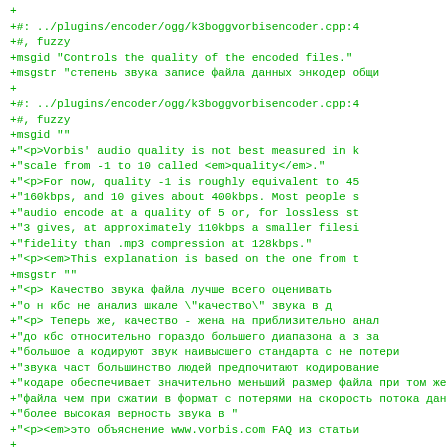+
+#: ../plugins/encoder/ogg/k3boggvorbisencoder.cpp:4
+#, fuzzy
+msgid "Controls the quality of the encoded files."
+msgstr "                                             
+
+#: ../plugins/encoder/ogg/k3boggvorbisencoder.cpp:4
+#, fuzzy
+msgid ""
+"<p>Vorbis' audio quality is not best measured in k
+"scale from -1 to 10 called <em>quality</em>."
+"<p>For now, quality -1 is roughly equivalent to 45
+"160kbps, and 10 gives about 400kbps. Most people s
+"audio encode at a quality of 5 or, for lossless st
+"3 gives, at approximately 110kbps a smaller filesi
+"fidelity than .mp3 compression at 128kbps."
+"<p><em>This explanation is based on the one from t
+msgstr ""
+"<p>                                                  
+"                          \"quality\"            
+"<p>             ,                                 
+"                                                  
+"                                                  
+"                                                    
+"                                                ,
+"                                                  
+"                     "
+"<p><em>              www.vorbis.com FAQ            
+
+#: ../plugins/encoder/ogg/k3boggvorbisencoder.cpp:4